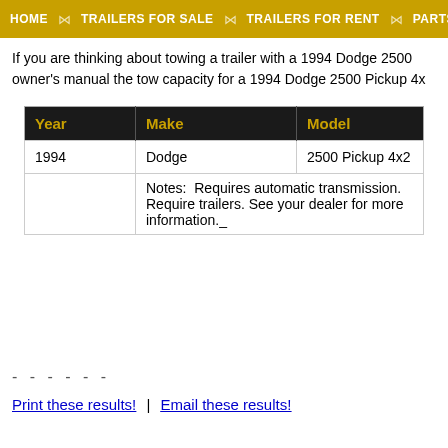HOME | TRAILERS FOR SALE | TRAILERS FOR RENT | PARTS & ACCES
If you are thinking about towing a trailer with a 1994 Dodge 2500 owner's manual the tow capacity for a 1994 Dodge 2500 Pickup 4x
| Year | Make | Model |
| --- | --- | --- |
| 1994 | Dodge | 2500 Pickup 4x2 |
Notes: Requires automatic transmission. Require trailers. See your dealer for more information._
- - - - - -
Print these results! | Email these results!